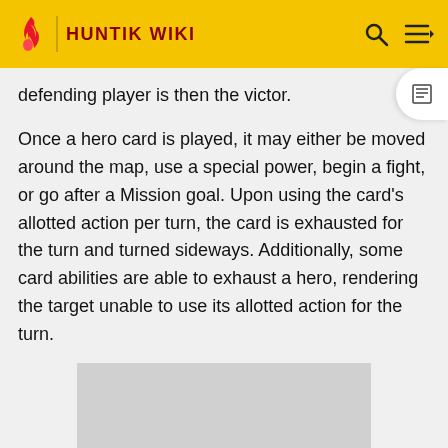HUNTIK WIKI
defending player is then the victor.
Once a hero card is played, it may either be moved around the map, use a special power, begin a fight, or go after a Mission goal. Upon using the card's allotted action per turn, the card is exhausted for the turn and turned sideways. Additionally, some card abilities are able to exhaust a hero, rendering the target unable to use its allotted action for the turn.
[Figure (other): Gray placeholder image box]